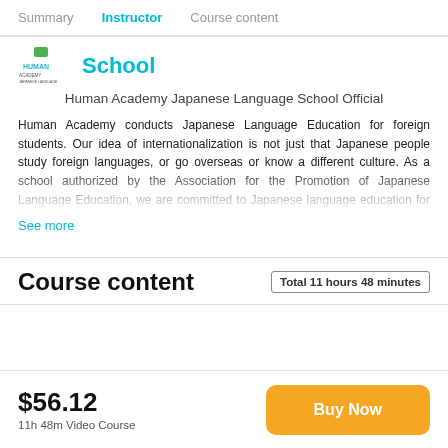Summary  Instructor  Course content
School
Human Academy Japanese Language School Official
Human Academy conducts Japanese Language Education for foreign students. Our idea of internationalization is not just that Japanese people study foreign languages, or go overseas or know a different culture. As a school authorized by the Association for the Promotion of Japanese Language Education, we are committed to Japanese language education for foreign students at our
See more
Course content
Total 11 hours 48 minutes
$56.12
11h 48m Video Course
Buy Now